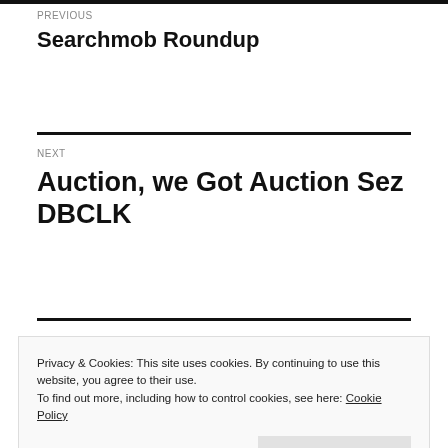PREVIOUS
Searchmob Roundup
NEXT
Auction, we Got Auction Sez DBCLK
Privacy & Cookies: This site uses cookies. By continuing to use this website, you agree to their use.
To find out more, including how to control cookies, see here: Cookie Policy
Close and accept